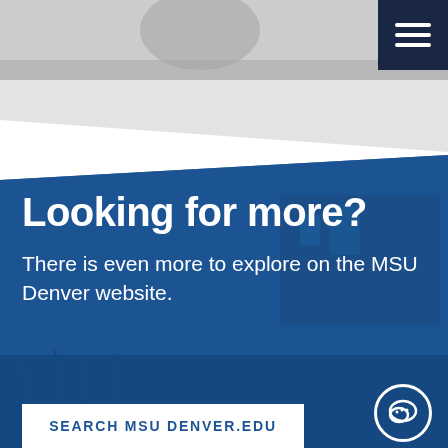[Figure (photo): Top portion of a campus or person photo in grayscale/light gray tones, partially visible at the top of the page]
[Figure (photo): Blue-tinted campus building and landscape photo used as background for the lower section]
Looking for more?
There is even more to explore on the MSU Denver website.
SEARCH MSU DENVER.EDU